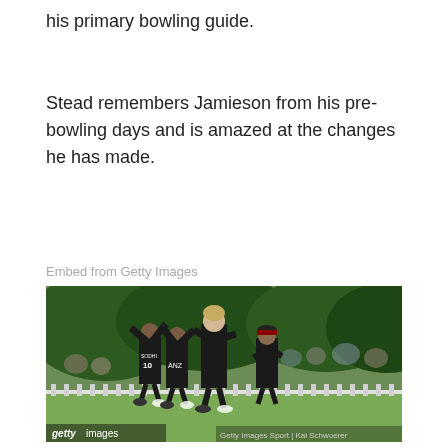his primary bowling guide.
Stead remembers Jamieson from his pre-bowling days and is amazed at the changes he has made.
Embed from Getty Images
[Figure (photo): New Zealand cricket players in black uniforms celebrating on a cricket ground. Players including one wearing number 10 (Sodhi) and another with ANZ sponsor are high-fiving. A tall blond player is prominent in the center. Spectators are visible in the background on a grassy embankment. Getty Images watermark visible with credit to Kai Schwoerer.]